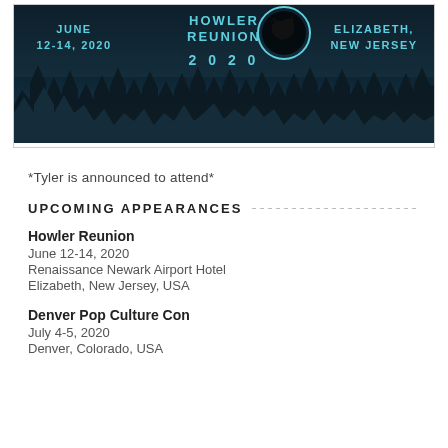[Figure (illustration): Howler Reunion 2020 event banner with dark forest background, teal text showing 'JUNE 12-14, 2020' on left, 'HOWLER REUNION 2020' with wolf logo in center, 'ELIZABETH, NEW JERSEY' on right, and pine tree silhouettes along the bottom]
*Tyler is announced to attend*
UPCOMING APPEARANCES
Howler Reunion
June 12-14, 2020
Renaissance Newark Airport Hotel
Elizabeth, New Jersey, USA
Denver Pop Culture Con
July 4-5, 2020
Denver, Colorado, USA